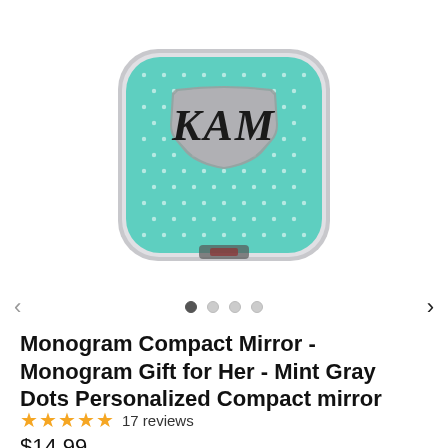[Figure (photo): A teal/mint compact mirror with white polka dots and a gray decorative badge in the center. The badge displays the monogram 'KAM' in cursive script. The mirror has a silver chrome edge and is photographed at an angle showing the top and front.]
< • ○ ○ ○ >
Monogram Compact Mirror - Monogram Gift for Her - Mint Gray Dots Personalized Compact mirror
★★★★★ 17 reviews
$14.99